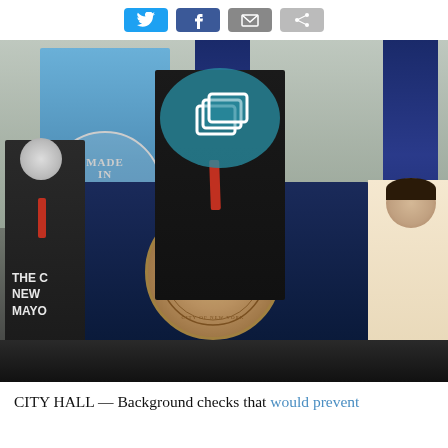[Figure (other): Social media share buttons: Twitter, Facebook, email/envelope, and another button]
[Figure (photo): A public official speaks at a podium displaying the NYC seal (City of New York seal). Behind him is a 'Made in NY' banner and two flags. Two other men stand on either side. The speaker's face is obscured with a teal privacy overlay icon.]
CITY HALL — Background checks that would prevent